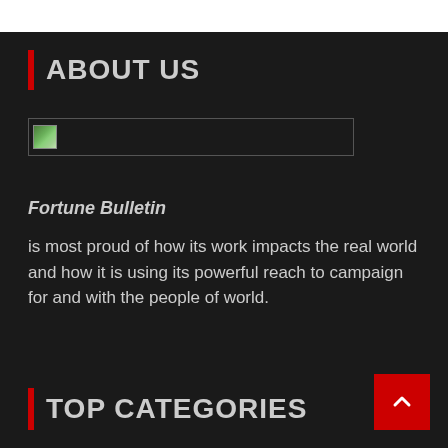ABOUT US
[Figure (other): Broken/loading image placeholder — a wide rectangular box with a small image icon in the top-left corner]
Fortune Bulletin
is most proud of how its work impacts the real world and how it is using its powerful reach to campaign for and with the people of world.
TOP CATEGORIES